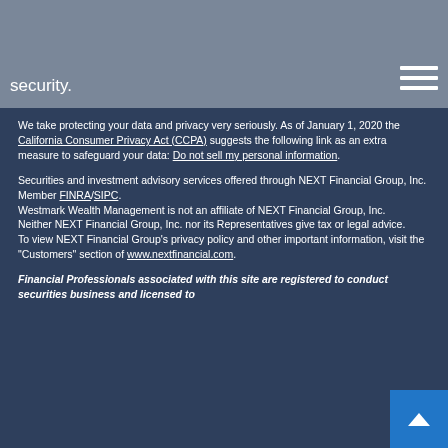security.
We take protecting your data and privacy very seriously. As of January 1, 2020 the California Consumer Privacy Act (CCPA) suggests the following link as an extra measure to safeguard your data: Do not sell my personal information.
Securities and investment advisory services offered through NEXT Financial Group, Inc.
Member FINRA/SIPC.
Westmark Wealth Management is not an affiliate of NEXT Financial Group, Inc.
Neither NEXT Financial Group, Inc. nor its Representatives give tax or legal advice.
To view NEXT Financial Group's privacy policy and other important information, visit the "Customers" section of www.nextfinancial.com.
Financial Professionals associated with this site are registered to conduct securities business and licensed to